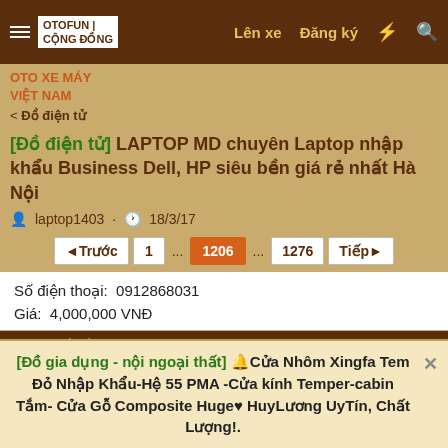OTOFUN | CỘNG ĐỒNG OTO XE MÁY VIỆT NAM — Lên xe  Đăng ký
OTO XE MÁY VIỆT NAM
< Đồ điện tử
[Đồ điện tử] LAPTOP MD chuyên Laptop nhập khẩu Business Dell, HP siêu bền giá rẻ nhất Hà Nội
laptop1403 · 18/3/17
◄Trước  1  ...  1206  ...  1276  Tiếp►
Số điện thoại:  0912868031
Giá:  4,000,000 VNĐ
14:41 22/01/2022  #24,101
laptop1403 ✏  Xe hơi (Kinh doanh chuyên nghiệp) ⭐  Biển số: OF-176263  Động cơ: 341,220 Mã lực
[Đồ gia dụng - nội ngoại thất] 🔔Cửa Nhôm Xingfa Tem Đỏ Nhập Khẩu-Hệ 55 PMA -Cửa kính Temper-cabin Tắm- Cửa Gỗ Composite Huge♥ HuyLương UyTín, Chất Lượng!.